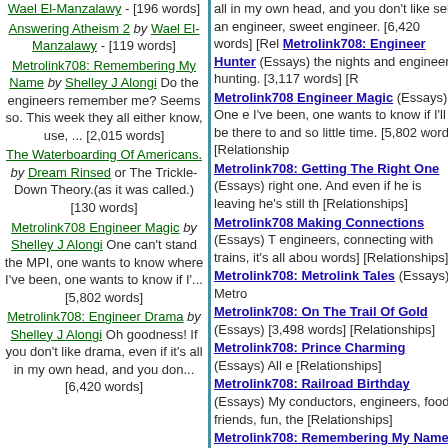Wael El-Manzalawy - [196 words]
Answering Atheism 2 by Wael El-Manzalawy - [119 words]
Metrolink708: Remembering My Name by Shelley J Alongi Do the engineers remember me? Seems so. This week they all either know, use, ... [2,015 words]
The Waterboarding Of Americans. by Dream Rinsed or The Trickle-Down Theory.(as it was called.) [130 words]
Metrolink708 Engineer Magic by Shelley J Alongi One can't stand the MPI, one wants to know where I've been, one wants to know if I'... [5,802 words]
Metrolink708: Engineer Drama by Shelley J Alongi Oh goodness! If you don't like drama, even if it's all in my own head, and you don... [6,420 words]
Metrolink708: Engineer Hunter (Essays) the nights and engineer hunting. [3,117 words] [R
Metrolink708 Engineer Magic (Essays) One e I've been, one wants to know if I'll be there to and so little time. [5,802 words] [Relationship
Metrolink708: Getting The Right One (Essays) right one. And even if he is leaving he's still th [Relationships]
Metrolink708 Making Connections (Essays) T engineers, connecting with trains, it's all abou words] [Relationships]
Metrolink708: Metrolink Tales (Essays) Metro
Metrolink708: On The Trail Of Gold (Essays) [3,498 words] [Relationships]
Metrolink708: Prince Charming (Essays) All e [Relationships]
Metrolink708: Railroad Birthday (Essays) My conductors, engineers, food, friends, fun, the [Relationships]
Metrolink708: Remembering My Name (Essa so. This week they all either know, use, or re [2,015 words] [Relationships]
Metrolink708: Replacing The Engineer (Essa much potential, so little time, and still you car Shelley's engineer adventures. [4,401 words]
Metrolink708: The Commuter Train To Paradi